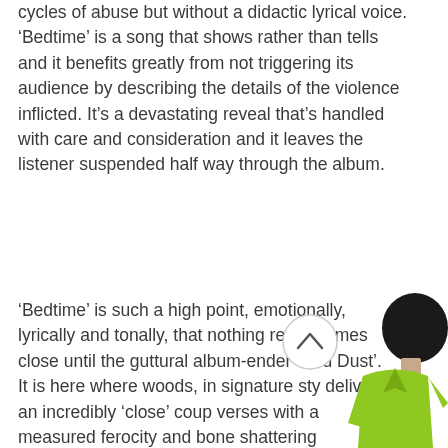cycles of abuse but without a didactic lyrical voice. 'Bedtime' is a song that shows rather than tells and it benefits greatly from not triggering its audience by describing the details of the violence inflicted. It's a devastating reveal that's handled with care and consideration and it leaves the listener suspended half way through the album.
'Bedtime' is such a high point, emotionally, lyrically and tonally, that nothing really comes close until the guttural album-ender 'Red Dust'. It is here where woods, in signature sty delivers an incredibly 'close' coup verses with a measured ferocity and bone shattering conviction. He's done it before...
[Figure (illustration): Cartoon illustration of a character with a dark round head wearing a bright green/yellow vest or jacket, partially visible at bottom right of page]